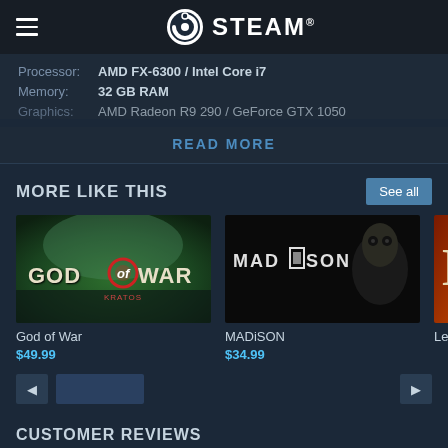STEAM
Processor: AMD FX-6300 / Intel Core i7
Memory: 32 GB RAM
Graphics: AMD Radeon R9 290 / GeForce GTX 1050
READ MORE
MORE LIKE THIS
See all
[Figure (screenshot): God of War game thumbnail]
God of War
$49.99
[Figure (screenshot): MADiSON game thumbnail]
MADiSON
$34.99
[Figure (screenshot): Partially visible game thumbnail with letter L]
Lege
CUSTOMER REVIEWS
2 user reviews () ALL TIME